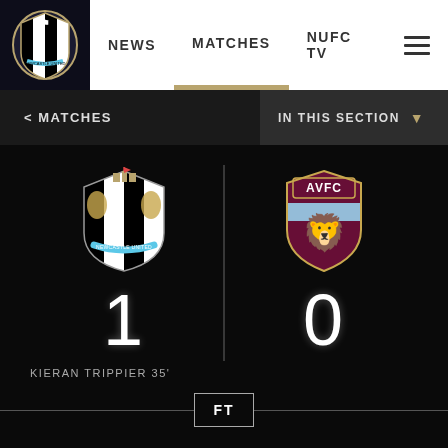[Figure (screenshot): Newcastle United website navigation bar with logo, NEWS, MATCHES (active), NUFC TV links and hamburger menu]
< MATCHES
IN THIS SECTION ▼
[Figure (logo): Newcastle United FC crest]
[Figure (logo): Aston Villa FC crest (AVFC)]
1
0
KIERAN TRIPPIER 35'
FT
ST. JAMES' PARK
PREMIER LEAGUE